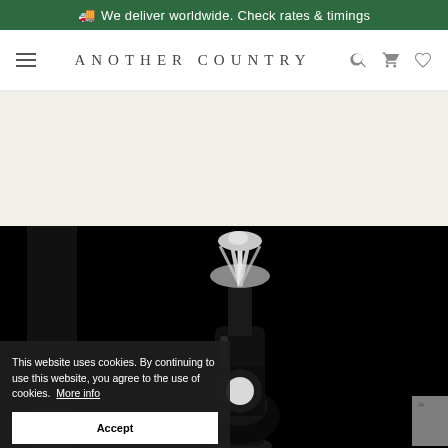🚚 We deliver worldwide. Check rates & timings
ANOTHER COUNTRY
[Figure (screenshot): Black and white photograph of a glass bottle with wrapped top against a dark background, partially obscured by a cookie consent overlay]
This website uses cookies. By continuing to use this website, you agree to the use of cookies.  More info
Accept